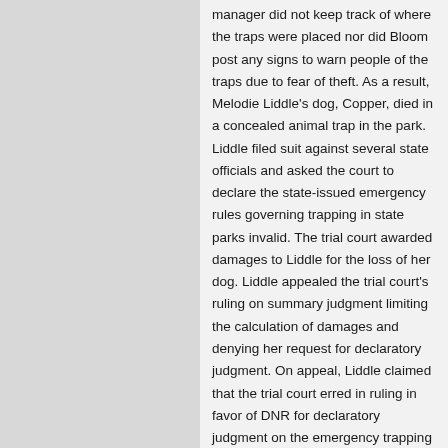manager did not keep track of where the traps were placed nor did Bloom post any signs to warn people of the traps due to fear of theft. As a result, Melodie Liddle's dog, Copper, died in a concealed animal trap in the park. Liddle filed suit against several state officials and asked the court to declare the state-issued emergency rules governing trapping in state parks invalid. The trial court awarded damages to Liddle for the loss of her dog. Liddle appealed the trial court's ruling on summary judgment limiting the calculation of damages and denying her request for declaratory judgment. On appeal, Liddle claimed that the trial court erred in ruling in favor of DNR for declaratory judgment on the emergency trapping rules and in excluding sentimental value from Liddle's calculation of damages. The Court concluded that Liddle's claim for declaratory relief was moot because the 2012 and 2013 versions